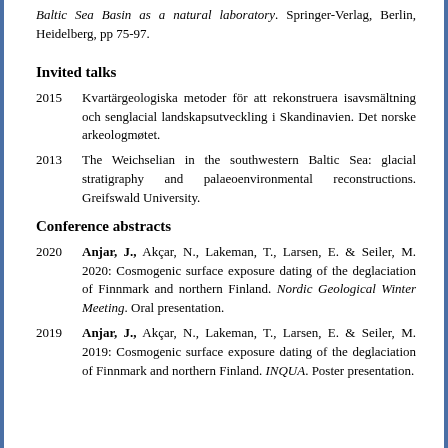Baltic Sea Basin as a natural laboratory. Springer-Verlag, Berlin, Heidelberg, pp 75-97.
Invited talks
2015 Kvartärgeologiska metoder för att rekonstruera isavsmältning och senglacial landskapsutveckling i Skandinavien. Det norske arkeologmøtet.
2013 The Weichselian in the southwestern Baltic Sea: glacial stratigraphy and palaeoenvironmental reconstructions. Greifswald University.
Conference abstracts
2020 Anjar, J., Akçar, N., Lakeman, T., Larsen, E. & Seiler, M. 2020: Cosmogenic surface exposure dating of the deglaciation of Finnmark and northern Finland. Nordic Geological Winter Meeting. Oral presentation.
2019 Anjar, J., Akçar, N., Lakeman, T., Larsen, E. & Seiler, M. 2019: Cosmogenic surface exposure dating of the deglaciation of Finnmark and northern Finland. INQUA. Poster presentation.